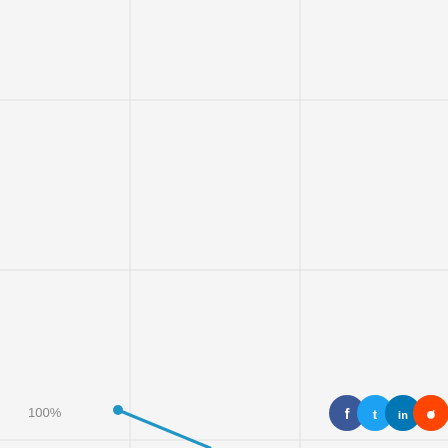[Figure (continuous-plot): Bottom-left portion of a line chart showing a descending blue line starting at 100% on the y-axis. The chart has a light gray grid background. Social media sharing icons (Facebook, Twitter, LinkedIn, Reddit) are visible in the bottom-right corner.]